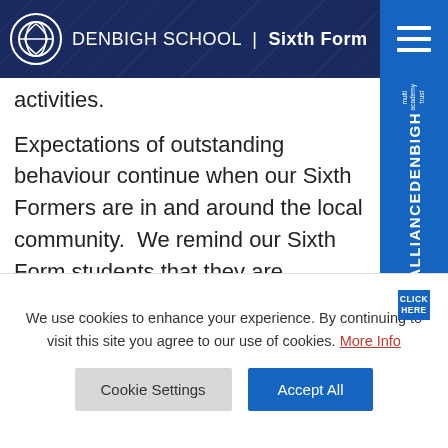DENBIGH SCHOOL | Sixth Form
activities.
Expectations of outstanding behaviour continue when our Sixth Formers are in and around the local community.  We remind our Sixth Form students that they are representing themselves and Denbigh School at all times.  This is one of the reasons why we have extremely strong working relationships with local businesses in Shenley Church End and Denbigh School has
We use cookies to enhance your experience. By continuing to visit this site you agree to our use of cookies. More Info
Cookie Settings
Accept All